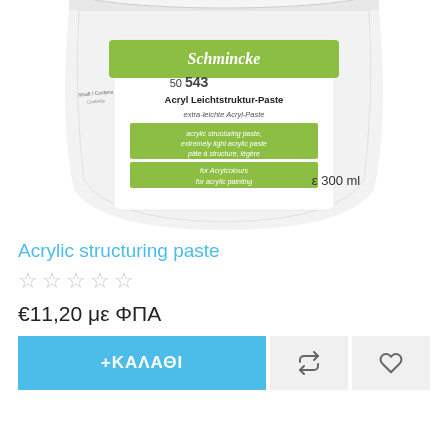[Figure (photo): Schmincke Acryl Leichtstruktur-Paste (Acrylic structuring paste) 300ml white jar with green label, product number 50 543]
Acrylic structuring paste
☆☆☆☆☆
€11,20 με ΦΠΑ
+ΚΑΛΑΘΙ